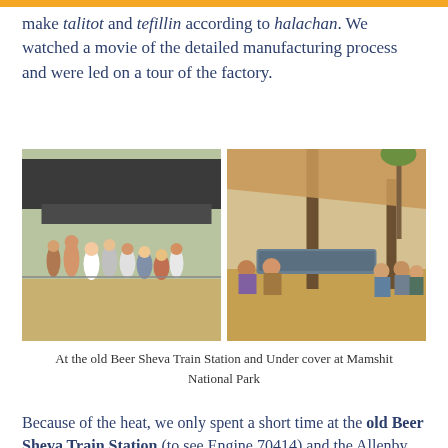make talitot and tefillin according to halachan. We watched a movie of the detailed manufacturing process and were led on a tour of the factory.
[Figure (photo): Two side-by-side photos: left shows a group of tourists standing outdoors near a train at the old Beer Sheva Train Station; right shows people sitting under a shaded structure at Mamshit National Park in the desert.]
At the old Beer Sheva Train Station and Under cover at Mamshit National Park
Because of the heat, we only spent a short time at the old Beer Sheva Train Station (to see Engine 70414) and the Allenby Garden and drove past the British cemetery.
Our accommodation in Yeruham was the Desert Iris Hotel, a pleasant place to stay in the desert with comfortable rooms and a good choice of food.